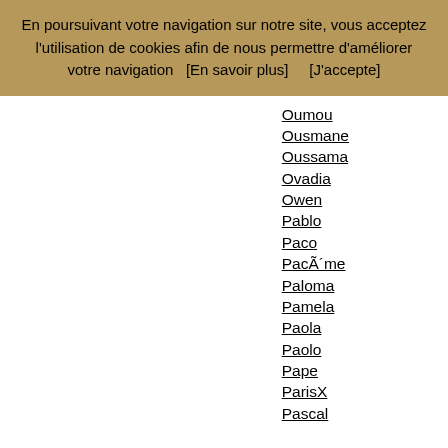En poursuivant votre navigation sur notre site, vous acceptez l'utilisation de cookies afin de nous permettre d'améliorer votre navigation   [En savoir plus]       [J'accepte]
Oumou
Ousmane
Oussama
Ovadia
Owen
Pablo
Paco
PacÃ´me
Paloma
Pamela
Paola
Paolo
Pape
ParisX
Pascal
Pascale
Pascaline
Patrice
Patricia
Patrick
Paul